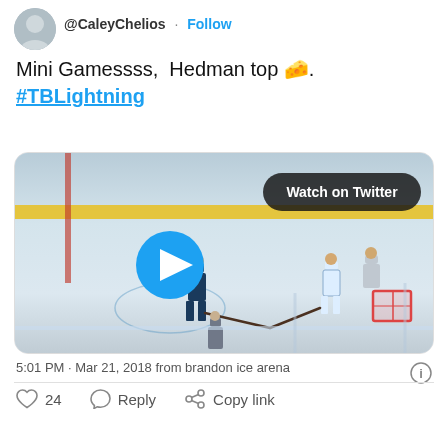[Figure (screenshot): Twitter/X profile avatar thumbnail showing a person, displayed as circular crop]
@CaleyChelios · Follow
Mini Gamessss,  Hedman top 🧀. #TBLightning
[Figure (photo): Video thumbnail of a hockey practice/mini game at an ice rink. Shows players on the ice including one in dark jersey and one in white, a goalie net visible on the right. A blue circular play button is overlaid in the center, and a 'Watch on Twitter' badge appears in the upper right corner.]
5:01 PM · Mar 21, 2018 from brandon ice arena
♡ 24   ○ Reply   ⊙ Copy link
[Figure (logo): Circular blue sports/team logo in bottom left footer area]
[Figure (logo): Twitter bird icon and Facebook f icon in bottom right footer area]